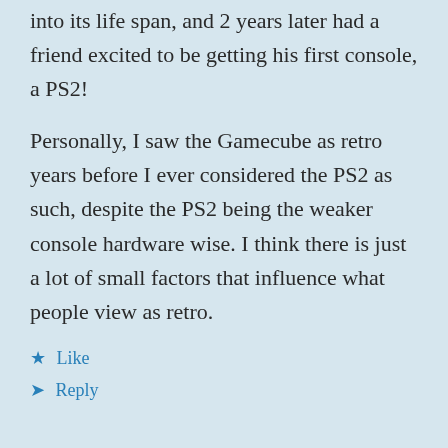into its life span, and 2 years later had a friend excited to be getting his first console, a PS2!
Personally, I saw the Gamecube as retro years before I ever considered the PS2 as such, despite the PS2 being the weaker console hardware wise. I think there is just a lot of small factors that influence what people view as retro.
Like
Reply
Jucksalbe
June 6, 2021 at 8:53 am
I think a lot of it has to do with what is close to...